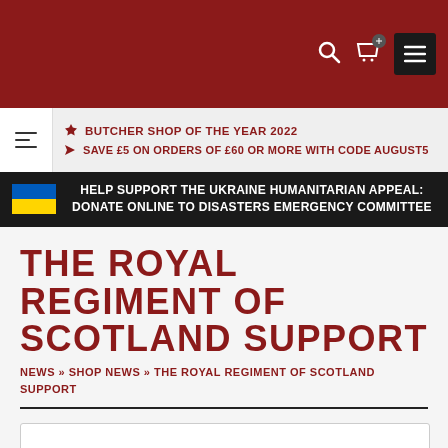Header navigation bar with search, cart, and menu icons
🏆 BUTCHER SHOP OF THE YEAR 2022
» SAVE £5 ON ORDERS OF £60 OR MORE WITH CODE AUGUST5
HELP SUPPORT THE UKRAINE HUMANITARIAN APPEAL: DONATE ONLINE TO DISASTERS EMERGENCY COMMITTEE
THE ROYAL REGIMENT OF SCOTLAND SUPPORT
NEWS » SHOP NEWS » THE ROYAL REGIMENT OF SCOTLAND SUPPORT